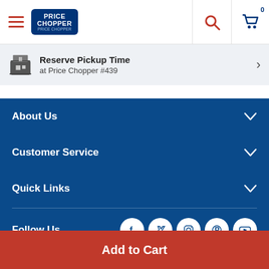[Figure (logo): Price Chopper logo with hamburger menu, search icon, and cart icon showing 0 items]
Reserve Pickup Time at Price Chopper #439
About Us
Customer Service
Quick Links
Follow Us
Download Our Apps
Add to Cart